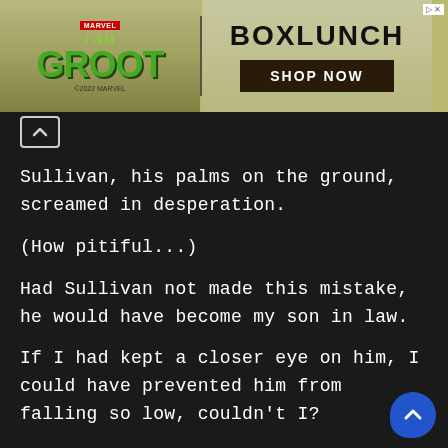[Figure (screenshot): Advertisement banner for BoxLunch featuring I Am Groot Marvel branding with a Shop Now button]
Sullivan, his palms on the ground, screamed in desperation.

(How pitiful...)

Had Sullivan not made this mistake, he would have become my son in law.

If I had kept a closer eye on him, I could have prevented him from falling so low, couldn't I?